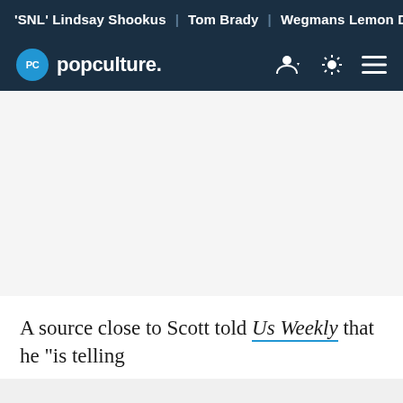'SNL' Lindsay Shookus | Tom Brady | Wegmans Lemon Dill F
[Figure (logo): Popculture.com logo with blue circle PC icon and white 'popculture.' wordmark on dark navy navigation bar, with user account icon, theme toggle, and hamburger menu icons on the right]
A source close to Scott told Us Weekly that he "is telling